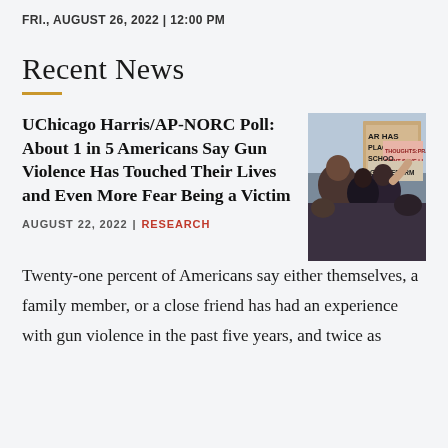FRI., AUGUST 26, 2022 | 12:00 PM
Recent News
UChicago Harris/AP-NORC Poll: About 1 in 5 Americans Say Gun Violence Has Touched Their Lives and Even More Fear Being a Victim
AUGUST 22, 2022 | RESEARCH
[Figure (photo): Protest photo showing people holding signs about gun reform, including signs reading 'AR HAS PLACE SCHOO THOUGHTS:PRAYE DONT SAVE LI GUN REFORM']
Twenty-one percent of Americans say either themselves, a family member, or a close friend has had an experience with gun violence in the past five years, and twice as